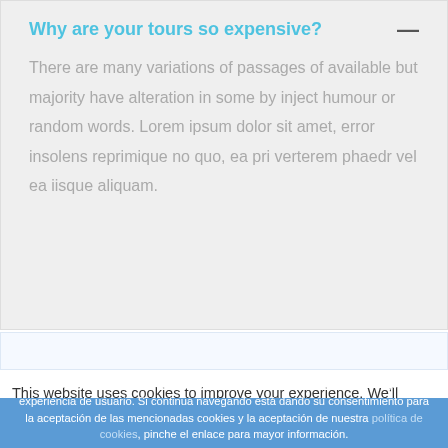Why are your tours so expensive?
There are many variations of passages of available but majority have alteration in some by inject humour or random words. Lorem ipsum dolor sit amet, error insolens reprimique no quo, ea pri verterem phaedr vel ea iisque aliquam.
This website uses cookies to improve your experience. We'll
Vacacionesenmalaga.com utiliza cookies para que usted tenga la mejor experiencia de usuario. Si continua navegando está dando su consentimiento para la aceptación de las mencionadas cookies y la aceptación de nuestra política de cookies, pinche el enlace para mayor información.
ACEPTAR